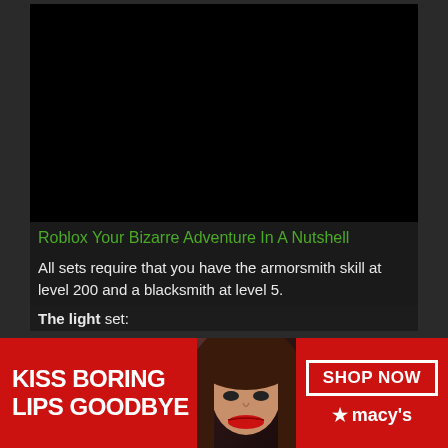[Figure (screenshot): Dark video player area showing a black screen, embedded in a dark website interface]
Roblox Your Bizarre Adventure In A Nutshell
All sets require that you have the armorsmith skill at level 200 and a blacksmith at level 5.
The light set:
No compatible source was found for this
Voidbent Wrap...
[Figure (screenshot): Advertisement banner for Macy's with red background, text KISS BORING LIPS GOODBYE, photo of woman with red lipstick, SHOP NOW button and Macy's star logo]